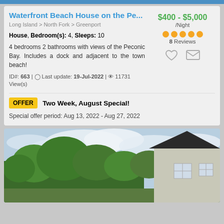Waterfront Beach House on the Pe...
Long Island > North Fork > Greenport
House, Bedroom(s): 4, Sleeps: 10
4 bedrooms 2 bathrooms with views of the Peconic Bay. Includes a dock and adjacent to the town beach!
$400 - $5,000 /Night
8 Reviews
ID#: 663 | Last update: 19-Jul-2022 | 11731 View(s)
OFFER Two Week, August Special!
Special offer period: Aug 13, 2022 - Aug 27, 2022
[Figure (photo): Exterior photo of a house with trees and cloudy sky]